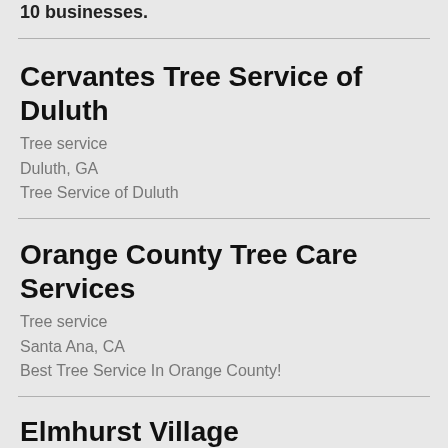10 businesses.
Cervantes Tree Service of Duluth
Tree service
Duluth, GA
Tree Service of Duluth
Orange County Tree Care Services
Tree service
Santa Ana, CA
Best Tree Service In Orange County!
Elmhurst Village